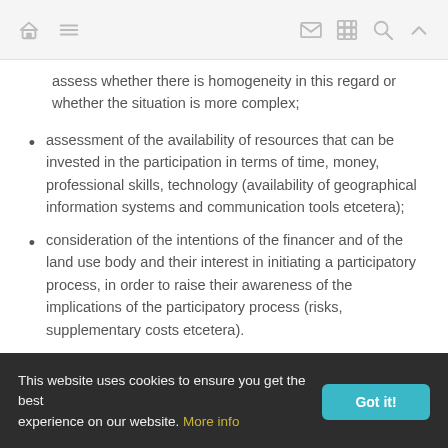Navigation bar with home, menu, mail, grid, search, and up icons
assess whether there is homogeneity in this regard or whether the situation is more complex;
assessment of the availability of resources that can be invested in the participation in terms of time, money, professional skills, technology (availability of geographical information systems and communication tools etcetera);
consideration of the intentions of the financer and of the land use body and their interest in initiating a participatory process, in order to raise their awareness of the implications of the participatory process (risks, supplementary costs etcetera).
This website uses cookies to ensure you get the best experience on our website. More info [Got it!]